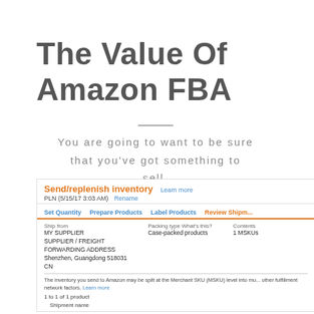The Value Of Amazon FBA
You are going to want to be sure that you've got something to sell.
[Figure (screenshot): Amazon Seller Central screenshot showing 'Send/replenish inventory' workflow with tabs: Set Quantity, Prepare Products, Label Products, Review Shipment. Ship from: MY SUPPLIER SUPPLIER / FREIGHT FORWARDING ADDRESS Shenzhen, Guangdong 518031 CN. Packing type: Case-packed products. Contents: 1 MSKUs. Note about inventory split at MSKU level. 1 to 1 of 1 product. Shipment name field shown.]